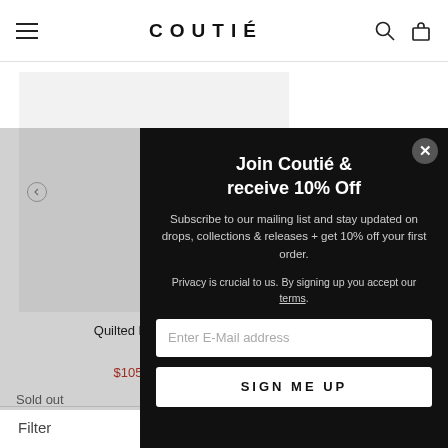COUTIÉ
[Figure (screenshot): Partial product listing showing Quilted Puffer Jacket in Grey at $105.00 sale price with Sold out label]
Join Coutié & receive 10% Off
Subscribe to our mailing list and stay updated on drops, collections & releases + get 10% off your first order.
Privacy is crucial to us. By signing up you accept our terms.
Enter E-Mail address
SIGN ME UP
Filter